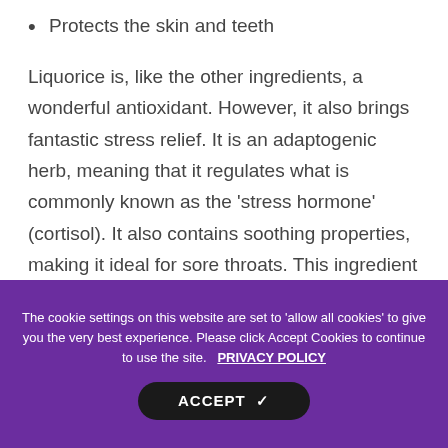Protects the skin and teeth
Liquorice is, like the other ingredients, a wonderful antioxidant. However, it also brings fantastic stress relief. It is an adaptogenic herb, meaning that it regulates what is commonly known as the ‘stress hormone’ (cortisol). It also contains soothing properties, making it ideal for sore throats. This ingredient means that this herbal green tea is not only good for general health, but for amazing stress and pain relief at
The cookie settings on this website are set to 'allow all cookies' to give you the very best experience. Please click Accept Cookies to continue to use the site. PRIVACY POLICY
ACCEPT ✔